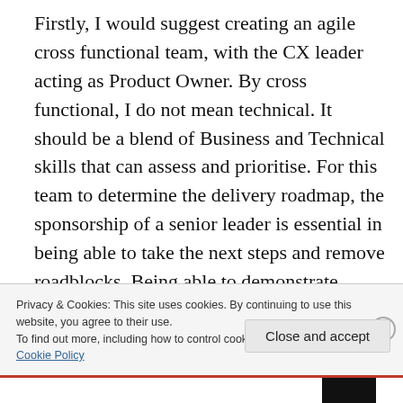Firstly, I would suggest creating an agile cross functional team, with the CX leader acting as Product Owner. By cross functional, I do not mean technical. It should be a blend of Business and Technical skills that can assess and prioritise. For this team to determine the delivery roadmap, the sponsorship of a senior leader is essential in being able to take the next steps and remove roadblocks. Being able to demonstrate success through regular small
Privacy & Cookies: This site uses cookies. By continuing to use this website, you agree to their use.
To find out more, including how to control cookies, see here:
Cookie Policy
Close and accept